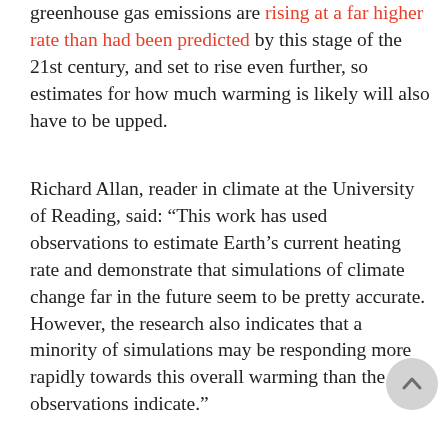greenhouse gas emissions are rising at a far higher rate than had been predicted by this stage of the 21st century, and set to rise even further, so estimates for how much warming is likely will also have to be upped.
Richard Allan, reader in climate at the University of Reading, said: “This work has used observations to estimate Earth’s current heating rate and demonstrate that simulations of climate change far in the future seem to be pretty accurate. However, the research also indicates that a minority of simulations may be responding more rapidly towards this overall warming than the observations indicate.”
He said the effect of pollutants in the atmosphere, which reflect the sun’s heat back into space, was particularly hard to measure.
He noted the inferred sensitivity of climate to a doubling of carbon dioxide concentrations based on this new study, suggesting a rise of 1.2C to 3.9C was